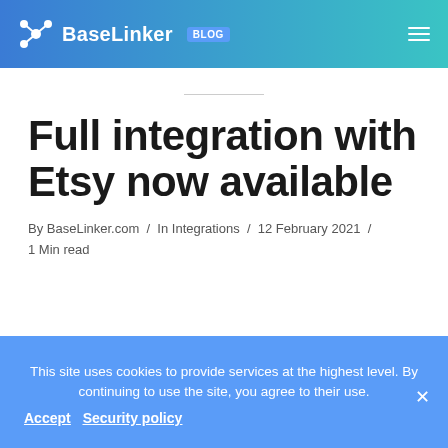BaseLinker BLOG
Full integration with Etsy now available
By BaseLinker.com / In Integrations / 12 February 2021 / 1 Min read
This site uses cookies to provide services at the highest level. By continuing to use the site, you agree to their use. Accept Security policy